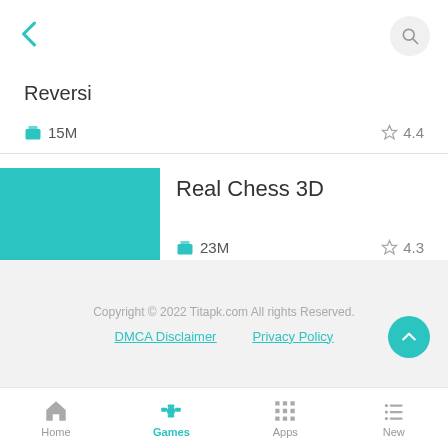< [back] [search]
Reversi
15M  4.4
Real Chess 3D
23M  4.3
Copyright © 2022 Titapk.com All rights Reserved. DMCA Disclaimer  Privacy Policy
Home  Games  Apps  New